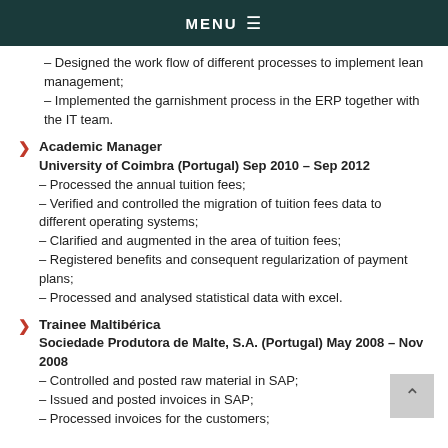MENU ≡
– Designed the work flow of different processes to implement lean management;
– Implemented the garnishment process in the ERP together with the IT team.
Academic Manager
University of Coimbra (Portugal) Sep 2010 – Sep 2012
– Processed the annual tuition fees;
– Verified and controlled the migration of tuition fees data to different operating systems;
– Clarified and augmented in the area of tuition fees;
– Registered benefits and consequent regularization of payment plans;
– Processed and analysed statistical data with excel.
Trainee Maltibérica
Sociedade Produtora de Malte, S.A. (Portugal) May 2008 – Nov 2008
– Controlled and posted raw material in SAP;
– Issued and posted invoices in SAP;
– Processed invoices for the customers;